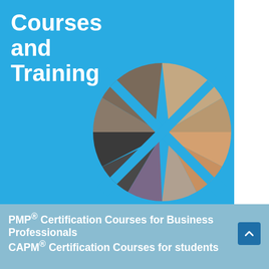[Figure (illustration): Blue background cover page with a globe-like collage of professional photos arranged in a circular pattern with X-shaped dividers on a sky blue background]
Courses and Training
PMP® Certification Courses for Business Professionals CAPM® Certification Courses for students